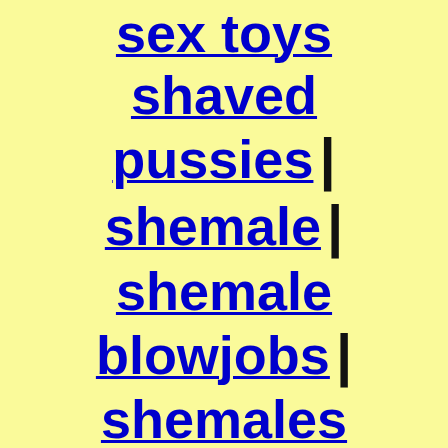sex toys
shaved
pussies |
shemale |
shemale
blowjobs |
shemales